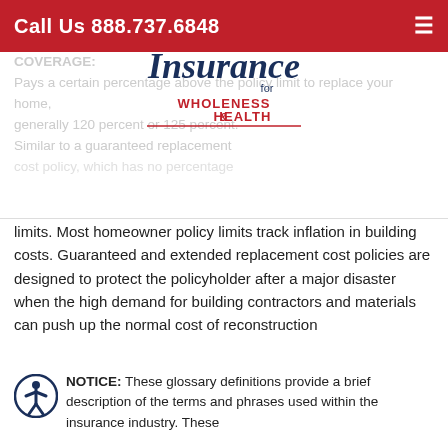Call Us 888.737.6848
[Figure (logo): Insurance for Wholeness & Health logo with script lettering]
COVERAGE: Pays a certain percentage above the policy limit to replace your home, generally 120 percent or 125 percent. Similar to a guaranteed replacement cost policy, which has no percentage limits. Most homeowner policy limits track inflation in building costs. Guaranteed and extended replacement cost policies are designed to protect the policyholder after a major disaster when the high demand for building contractors and materials can push up the normal cost of reconstruction
NOTICE: These glossary definitions provide a brief description of the terms and phrases used within the insurance industry. These